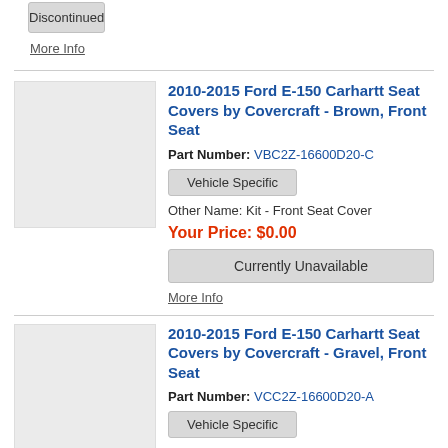Discontinued
More Info
2010-2015 Ford E-150 Carhartt Seat Covers by Covercraft - Brown, Front Seat
Part Number: VBC2Z-16600D20-C
Vehicle Specific
Other Name: Kit - Front Seat Cover
Your Price: $0.00
Currently Unavailable
More Info
[Figure (photo): Placeholder image for seat cover product]
2010-2015 Ford E-150 Carhartt Seat Covers by Covercraft - Gravel, Front Seat
Part Number: VCC2Z-16600D20-A
Vehicle Specific
[Figure (photo): Placeholder image for seat cover product]